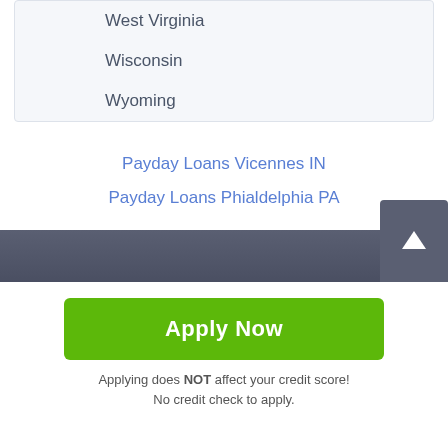West Virginia
Wisconsin
Wyoming
Payday Loans Vicennes IN
Payday Loans Phialdelphia PA
Apply Now
Applying does NOT affect your credit score!
No credit check to apply.